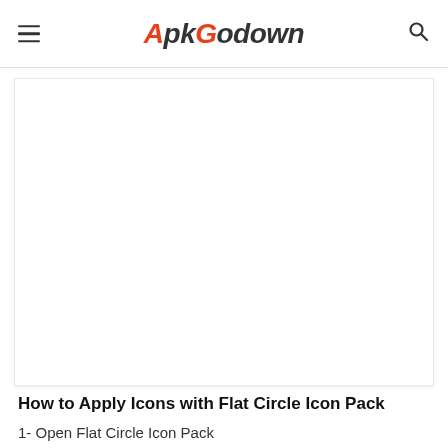ApkGodown
[Figure (other): White rectangular blank content area / advertisement placeholder]
How to Apply Icons with Flat Circle Icon Pack
1- Open Flat Circle Icon Pack